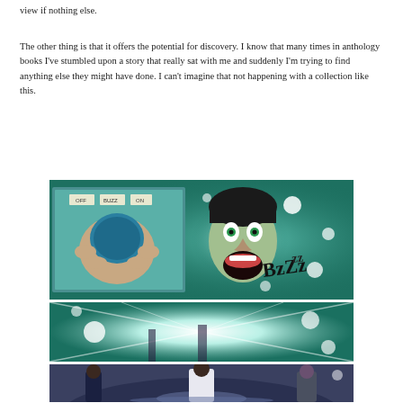view if nothing else.
The other thing is that it offers the potential for discovery. I know that many times in anthology books I've stumbled upon a story that really sat with me and suddenly I'm trying to find anything else they might have done. I can't imagine that not happening with a collection like this.
[Figure (illustration): Comic book panels showing a person reacting with shock to a buzzing device (labeled OFF/BUZZ/ON), green teal energy surrounds them with text 'BzZzz', followed by a bright white flash panel, and a third panel showing three figures in a futuristic setting.]